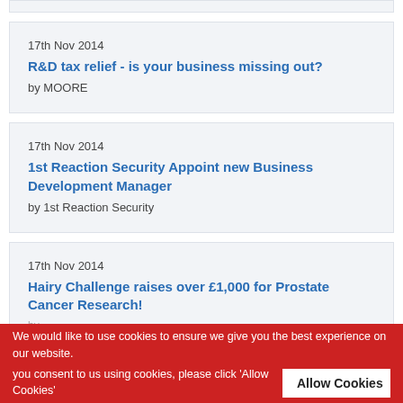17th Nov 2014
R&D tax relief - is your business missing out?
by MOORE
17th Nov 2014
1st Reaction Security Appoint new Business Development Manager
by 1st Reaction Security
17th Nov 2014
Hairy Challenge raises over £1,000 for Prostate Cancer Research!
by ...
We would like to use cookies to ensure we give you the best experience on our website. you consent to us using cookies, please click 'Allow Cookies'